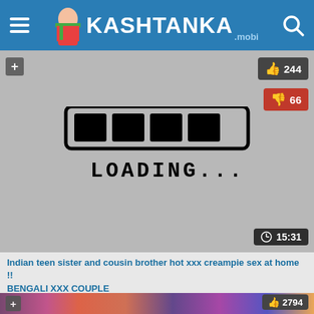KASHTANKA.mobi
[Figure (screenshot): Video thumbnail showing loading screen with hand-drawn loading bar and text LOADING...]
244
66
15:31
Indian teen sister and cousin brother hot xxx creampie sex at home !!
BENGALI XXX COUPLE
[Figure (photo): Second video thumbnail partially visible at bottom]
2794
75